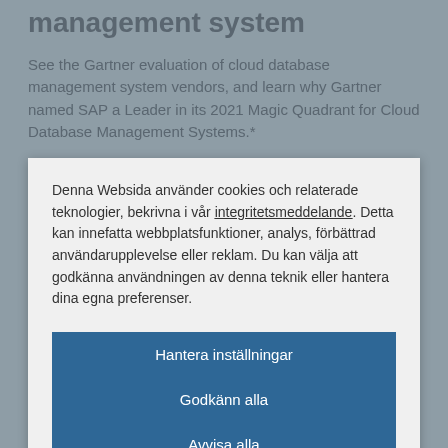management system
See the Gartner evaluation of cloud database management system vendors, and learn why Gartner named SAP a Leader in its 2021 Magic Quadrant for Cloud Database Management Systems.*
Read the Gartner report ›
Denna Websida använder cookies och relaterade teknologier, bekrivna i vår integritetsmeddelande. Detta kan innefatta webbplatsfunktioner, analys, förbättrad användarupplevelse eller reklam. Du kan välja att godkänna användningen av denna teknik eller hantera dina egna preferenser.
Hantera inställningar
Godkänn alla
Avvisa alla
Cookieförklaring